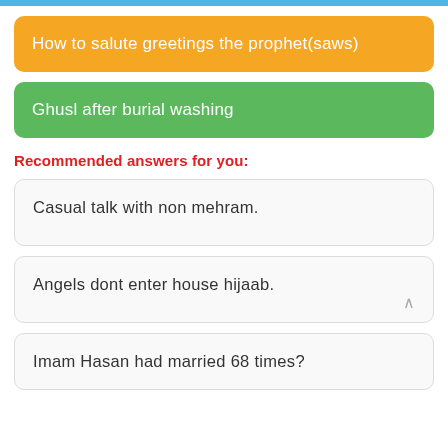How to salute greetings the prophet(saws)
Ghusl after burial washing
Recommended answers for you:
Casual talk with non mehram.
Angels dont enter house hijaab.
Imam Hasan had married 68 times?